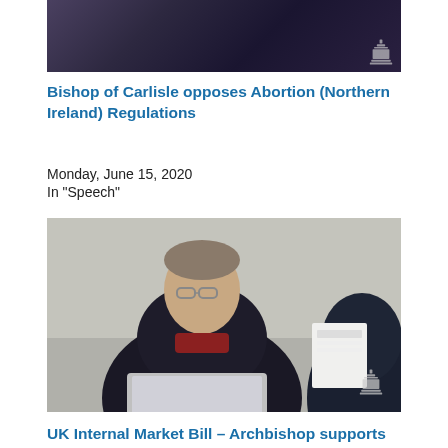[Figure (photo): Partial photo of a person in formal attire, with UK Parliament logo watermark in bottom right corner]
Bishop of Carlisle opposes Abortion (Northern Ireland) Regulations
Monday, June 15, 2020
In "Speech"
[Figure (photo): Photo of a bishop wearing clerical dress and glasses, seated at a desk with an open laptop, with UK Parliament logo watermark in bottom right corner]
UK Internal Market Bill – Archbishop supports amendments on Northern Ireland impact